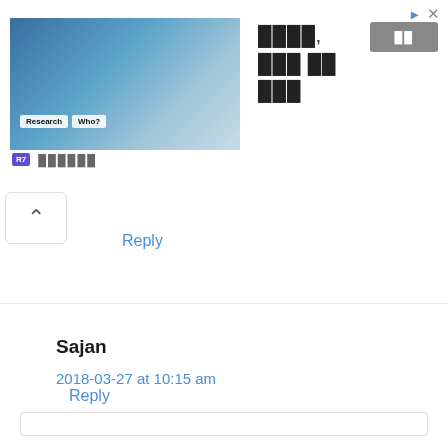[Figure (photo): Advertisement banner with a research/medical image on the left showing people in lab coats. Contains Hindi text, a gray button, and an R7 logo badge.]
Reply
Sajan
2018-03-27 at 10:15 am
English and Punjabi.
Reply